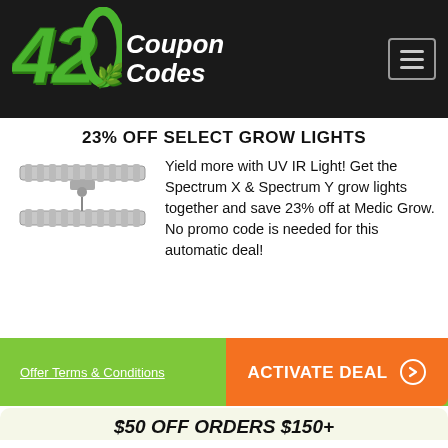[Figure (logo): 420 Coupon Codes logo with green styled '420' text and cannabis leaf, white 'Coupon Codes' italic text on dark background, hamburger menu icon top right]
23% OFF SELECT GROW LIGHTS
[Figure (photo): LED grow light panel - silver/grey bar light fixture]
Yield more with UV IR Light! Get the Spectrum X & Spectrum Y grow lights together and save 23% off at Medic Grow. No promo code is needed for this automatic deal!
Offer Terms & Conditions
ACTIVATE DEAL →
$50 OFF ORDERS $150+
[Figure (logo): Elixinol logo - blue hexagon outline with plant/leaf icon inside, 'elixinol' text below in blue]
Hurry and head over to Elixinol to get $50 off your entire CBD order when you spend $150 or more and apply this coupon code during checkout.